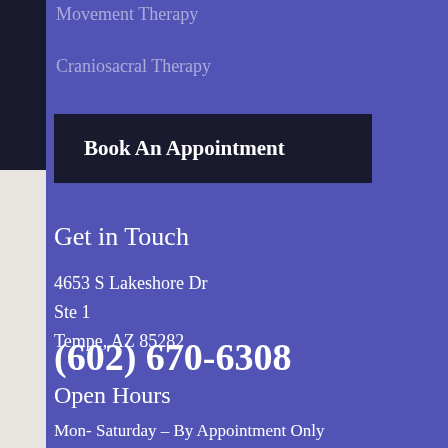Movement Therapy
Craniosacral Therapy
Book An Appointment
Get in Touch
4653 S Lakeshore Dr
Ste 1
Tempe, AZ 85282
(602) 670-6308
Open Hours
Mon- Saturday – By Appointment Only
Sunday — Closed